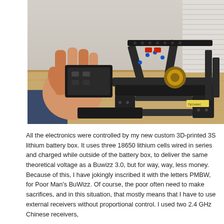[Figure (photo): A person holding a LEGO Technic construction (appears to be a vehicle or machine model with tracks and motors) on a wooden table. The person is wearing a watch and a blue sleeve. The model has black Technic parts, chains, and various motorized components.]
All the electronics were controlled by my new custom 3D-printed 3S lithium battery box. It uses three 18650 lithium cells wired in series and charged while outside of the battery box, to deliver the same theoretical voltage as a Buwizz 3.0, but for way, way, less money. Because of this, I have jokingly inscribed it with the letters PMBW, for Poor Man's BuWizz. Of course, the poor often need to make sacrifices, and in this situation, that mostly means that I have to use external receivers without proportional control. I used two 2.4 GHz Chinese receivers,